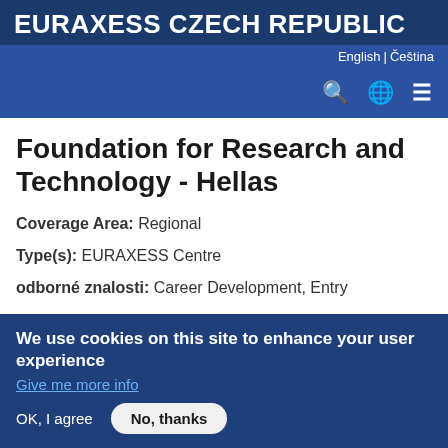EURAXESS CZECH REPUBLIC
English | Čeština
Foundation for Research and Technology - Hellas
Coverage Area: Regional
Type(s): EURAXESS Centre
odborné znalosti: Career Development, Entry
We use cookies on this site to enhance your user experience
Give me more info
OK, I agree   No, thanks